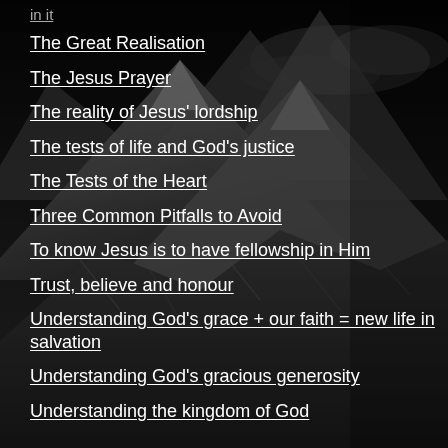The Great Realisation
The Jesus Prayer
The reality of Jesus' lordship
The tests of life and God's justice
The Tests of the Heart
Three Common Pitfalls to Avoid
To know Jesus is to have fellowship in Him
Trust, believe and honour
Understanding God's grace + our faith = new life in salvation
Understanding God's gracious generosity
Understanding the kingdom of God